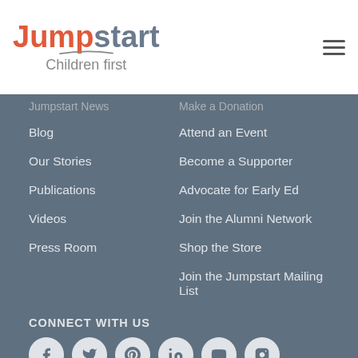[Figure (logo): Jumpstart logo with 'Children first' tagline and hamburger menu icon]
Blog
Our Stories
Publications
Videos
Press Room
Attend an Event
Become a Supporter
Advocate for Early Ed
Join the Alumni Network
Shop the Store
Join the Jumpstart Mailing List
CONNECT WITH US
[Figure (other): Social media icons: Facebook, Twitter, Pinterest, LinkedIn, YouTube, Instagram]
[Figure (other): NEWSLETTER SIGN UP button]
[Figure (logo): AmeriCorps logo circle with stylized A]